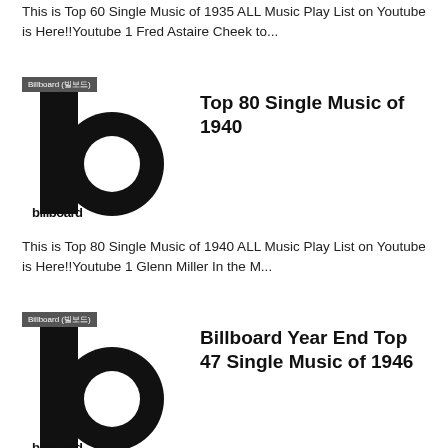This is Top 60 Single Music of 1935 ALL Music Play List on Youtube is Here!!Youtube 1 Fred Astaire Cheek to...
[Figure (logo): Billboard logo - large black letter b with circle, small badge reading 'Billboard (빌보드)']
Top 80 Single Music of 1940
This is Top 80 Single Music of 1940 ALL Music Play List on Youtube is Here!!Youtube 1 Glenn Miller In the M...
[Figure (logo): Billboard logo - large black letter b with circle, small badge reading 'Billboard (빌보드)']
Billboard Year End Top 47 Single Music of 1946
This is Billboard End Top 47 Single Music of 1946. ALL Music Play List on Youtube is Here!!Youtube Billboard Chart ...
[Figure (logo): Billboard logo - large black letter b with circle, small badge reading 'Billboard (빌보드)']
Top 40 Single Music of 1901